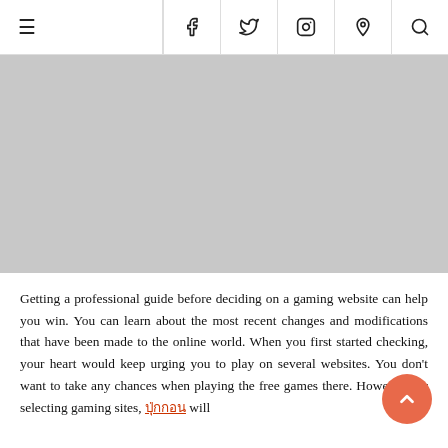≡  f  𝕥  ☷  ℗  🔍
[Figure (other): Gray rectangular advertisement or image placeholder area]
Getting a professional guide before deciding on a gaming website can help you win. You can learn about the most recent changes and modifications that have been made to the online world. When you first started checking, your heart would keep urging you to play on several websites. You don't want to take any chances when playing the free games there. However, for selecting gaming sites, [ปุ่กกอน] will